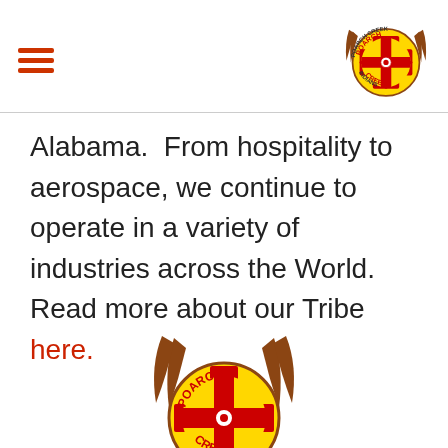Poarch Creek Indians logo and navigation menu
Alabama.  From hospitality to aerospace, we continue to operate in a variety of industries across the World.  Read more about our Tribe here.
[Figure (logo): Poarch Creek Indians circular tribal logo with feathers, cross symbol, text POARCH CREEK INDIANS on yellow background]